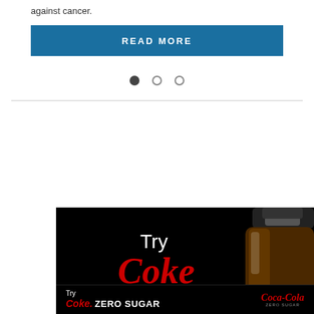against cancer.
[Figure (other): Blue 'READ MORE' button]
[Figure (other): Carousel navigation dots: one filled, two empty]
[Figure (other): Coca-Cola Zero Sugar advertisement banner showing a Coke bottle and text 'Try Coke' with black background, and a footer bar with 'Try Coke. ZERO SUGAR' and Coca-Cola Zero Sugar logo]